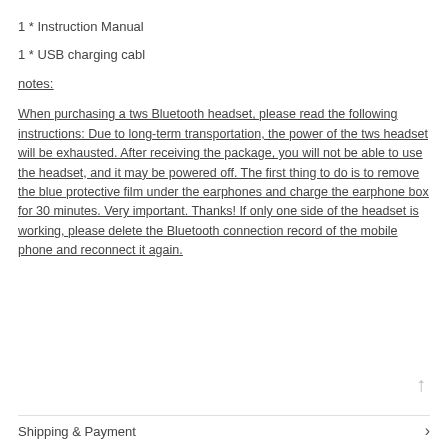1 * Instruction Manual
1 * USB charging cabl
notes:
When purchasing a tws Bluetooth headset, please read the following instructions: Due to long-term transportation, the power of the tws headset will be exhausted. After receiving the package, you will not be able to use the headset, and it may be powered off. The first thing to do is to remove the blue protective film under the earphones and charge the earphone box for 30 minutes. Very important. Thanks! If only one side of the headset is working, please delete the Bluetooth connection record of the mobile phone and reconnect it again.
Shipping & Payment